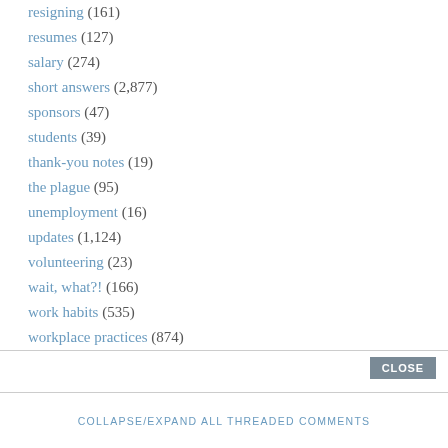resigning (161)
resumes (127)
salary (274)
short answers (2,877)
sponsors (47)
students (39)
thank-you notes (19)
the plague (95)
unemployment (16)
updates (1,124)
volunteering (23)
wait, what?! (166)
work habits (535)
workplace practices (874)
CLOSE
COLLAPSE/EXPAND ALL THREADED COMMENTS